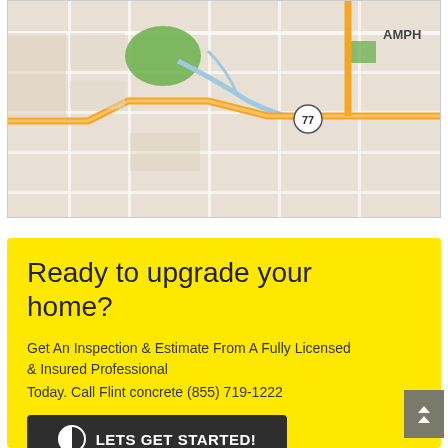[Figure (map): Street map showing roads, a route marked in orange/yellow, a highway 77 marker, green park areas, blue water features, and text 'AMPH' in upper right area.]
Ready to upgrade your home?
Get An Inspection & Estimate From A Fully Licensed & Insured Professional
Today. Call Flint concrete (855) 719-1222
LETS GET STARTED!